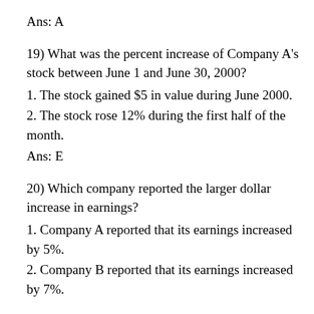Ans: A
19) What was the percent increase of Company A’s stock between June 1 and June 30, 2000?
1. The stock gained $5 in value during June 2000.
2. The stock rose 12% during the first half of the month.
Ans: E
20) Which company reported the larger dollar increase in earnings?
1. Company A reported that its earnings increased by 5%.
2. Company B reported that its earnings increased by 7%.